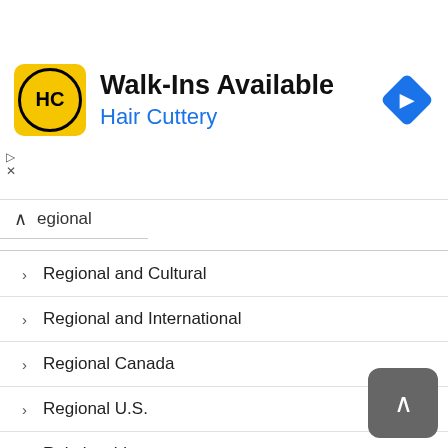[Figure (logo): Hair Cuttery advertisement banner with HC logo, 'Walk-Ins Available' title, 'Hair Cuttery' subtitle in blue, and a blue diamond navigation icon]
Regional
Regional and Cultural
Regional and International
Regional Canada
Regional U.S.
Relationships
Religion and Spirituality
Religions
Religious